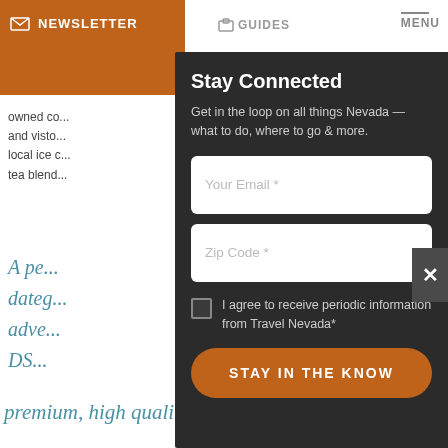NEWSLETTER   GUIDES   MENU
owned co... and visto... local ice c... tea blend...
[Figure (screenshot): Newsletter signup modal overlay on Travel Nevada website with dark background, showing Stay Connected headline, email and zip code fields, checkbox agreement, and orange STAY IN THE KNOW button]
A pe... dateg... adve... DS...
premium, high quality coffee shop.